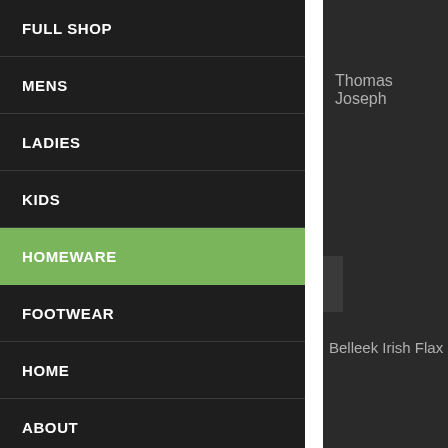FULL SHOP
MENS
LADIES
KIDS
HOMEWARE
FOOTWEAR
HOME
ABOUT
FULL SHOP
Thomas Joseph
Belleek Irish Flax